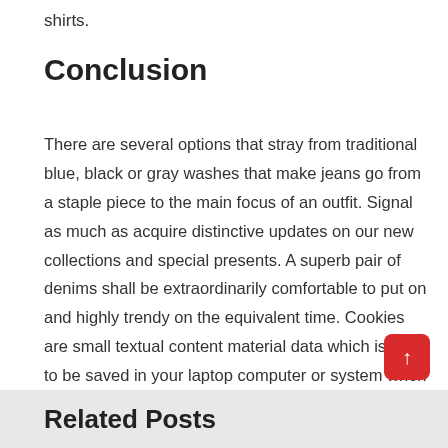shirts.
Conclusion
There are several options that stray from traditional blue, black or gray washes that make jeans go from a staple piece to the main focus of an outfit. Signal as much as acquire distinctive updates on our new collections and special presents. A superb pair of denims shall be extraordinarily comfortable to put on and highly trendy on the equivalent time. Cookies are small textual content material data which is likely to be saved in your laptop computer or system when you visit our websites.
Related Posts